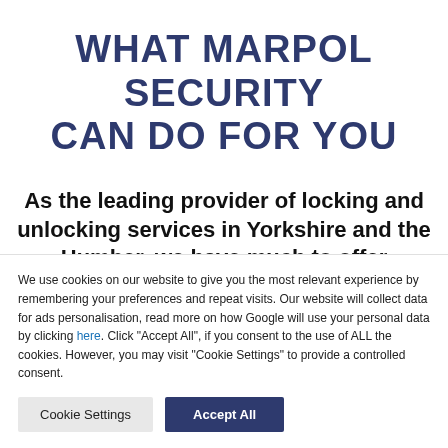WHAT MARPOL SECURITY CAN DO FOR YOU
As the leading provider of locking and unlocking services in Yorkshire and the Humber, we have much to offer companies in the region. Here are some of the services we
We use cookies on our website to give you the most relevant experience by remembering your preferences and repeat visits. Our website will collect data for ads personalisation, read more on how Google will use your personal data by clicking here. Click "Accept All", if you consent to the use of ALL the cookies. However, you may visit "Cookie Settings" to provide a controlled consent.